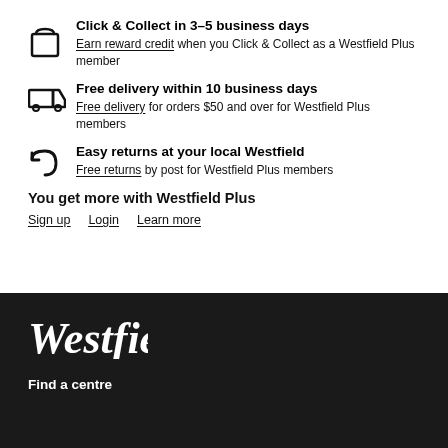Click & Collect in 3–5 business days
Earn reward credit when you Click & Collect as a Westfield Plus member
Free delivery within 10 business days
Free delivery for orders $50 and over for Westfield Plus members
Easy returns at your local Westfield
Free returns by post for Westfield Plus members
You get more with Westfield Plus
Sign up   Login   Learn more
[Figure (logo): Westfield logo in white italic script on dark background]
Find a centre